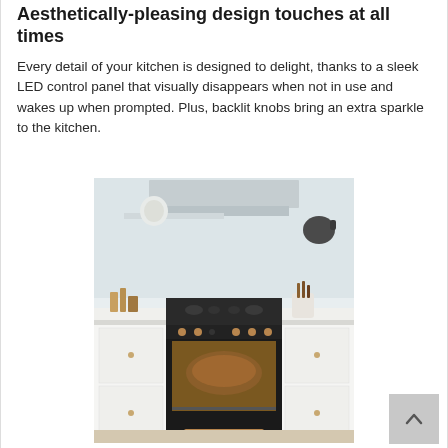Aesthetically-pleasing design touches at all times
Every detail of your kitchen is designed to delight, thanks to a sleek LED control panel that visually disappears when not in use and wakes up when prompted. Plus, backlit knobs bring an extra sparkle to the kitchen.
[Figure (photo): A modern kitchen range/oven with open oven door showing a roasting chicken inside, set in a white kitchen with range hood above, white cabinets, and cooking utensils on the countertop.]